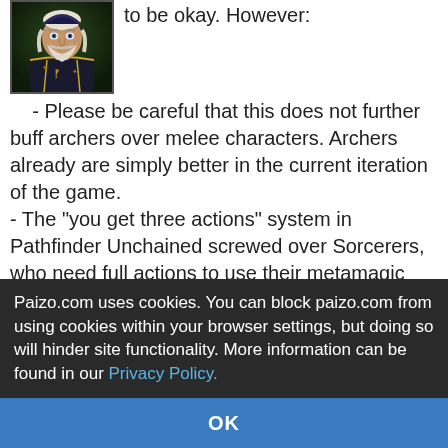[Figure (illustration): Fantasy character avatar - an old wizard or sage with white beard, wearing ornate dark robes with golden symbols, set against a dark fantasy background]
to be okay. However:
 - Please be careful that this does not further buff archers over melee characters. Archers already are simply better in the current iteration of the game.
- The "you get three actions" system in Pathfinder Unchained screwed over Sorcerers, who need full actions to use their metamagic feats and then suddenly did not have a swift action anymore for Quicken Spell. Please avoid this in second edition.
- The system also was pretty bad to swift action reliant classes (Inquisitors, Swashbucklers, Warpriests). As above, take care to change them accordingly in their future iterations.
Paizo.com uses cookies. You can block paizo.com from using cookies within your browser settings, but doing so will hinder site functionality. More information can be found in our Privacy Policy.
OK